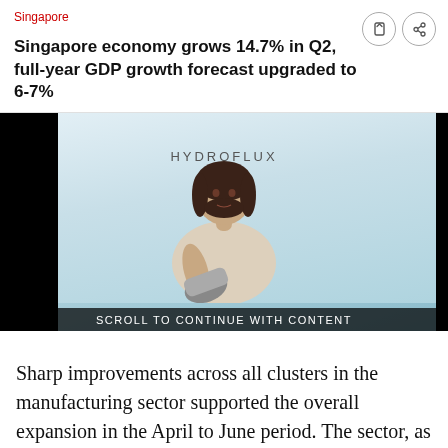Singapore
Singapore economy grows 14.7% in Q2, full-year GDP growth forecast upgraded to 6-7%
[Figure (photo): Advertisement image showing a woman holding a cylindrical product with 'HYDROFLUX' text, light blue background, with black bars on sides and a 'SCROLL TO CONTINUE WITH CONTENT' banner at the bottom.]
Sharp improvements across all clusters in the manufacturing sector supported the overall expansion in the April to June period. The sector, as a